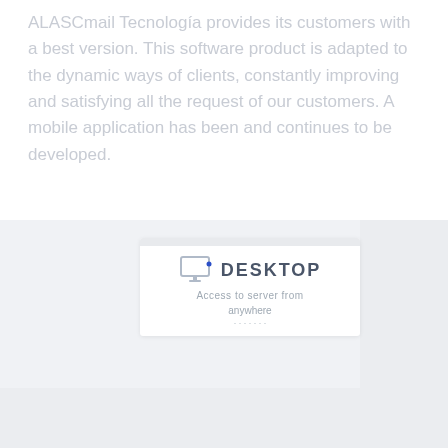ALASCmail Tecnología provides its customers with a best version. This software product is adapted to the dynamic ways of clients, constantly improving and satisfying all the request of our customers. A mobile application has been and continues to be developed.
[Figure (screenshot): A desktop application card/widget shown against a light gray background. The card is white with a monitor icon on the left, the word DESKTOP in bold capital letters, and subtitle text below reading 'Access to server from anywhere'.]